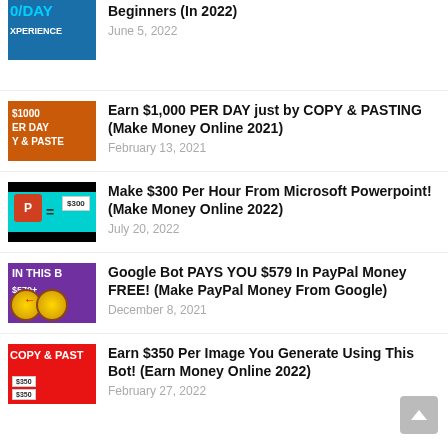[Figure (screenshot): Thumbnail for online money-making video, blue/dark background with text '0/DAY' and 'EXPERIENCE']
Beginners (In 2022)
June 5, 2022
[Figure (screenshot): Thumbnail with orange background showing '$1000 PER DAY Y & PASTE']
Earn $1,000 PER DAY just by COPY & PASTING (Make Money Online 2021)
February 13, 2021
[Figure (screenshot): Thumbnail with cyan/black background showing PowerPoint icon and $300]
Make $300 Per Hour From Microsoft Powerpoint! (Make Money Online 2022)
July 20, 2022
[Figure (screenshot): Thumbnail with purple background showing 'IN THIS B', $579+, and dart board wheels]
Google Bot PAYS YOU $579 In PayPal Money FREE! (Make PayPal Money From Google)
December 8, 2021
[Figure (screenshot): Thumbnail with red background showing 'COPY & PASTE' and $350]
Earn $350 Per Image You Generate Using This Bot! (Earn Money Online 2022)
February 27, 2022